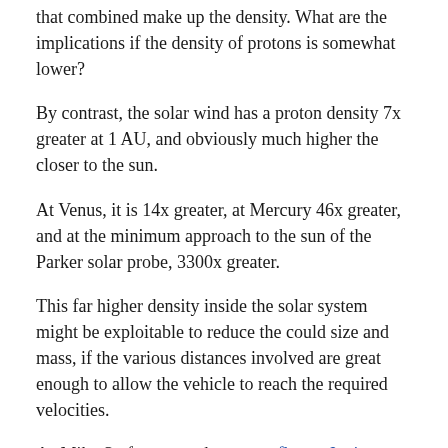that combined make up the density. What are the implications if the density of protons is somewhat lower?
By contrast, the solar wind has a proton density 7x greater at 1 AU, and obviously much higher the closer to the sun.
At Venus, it is 14x greater, at Mercury 46x greater, and at the minimum approach to the sun of the Parker solar probe, 3300x greater.
This far higher density inside the solar system might be exploitable to reduce the could size and mass, if the various distances involved are great enough to allow the vehicle to reach the required velocities.
As Mike Serfas notes, the proton flux at Jupiter (Europa) is very high, and it might be possible to target Jupiter to make use